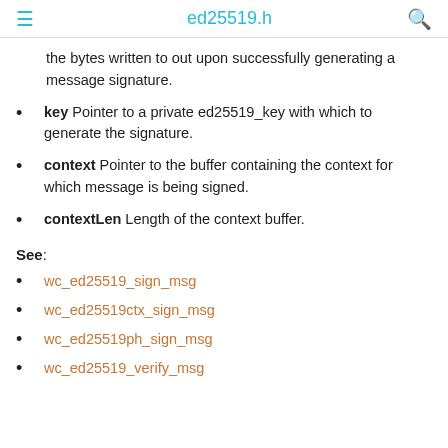ed25519.h
the bytes written to out upon successfully generating a message signature.
key Pointer to a private ed25519_key with which to generate the signature.
context Pointer to the buffer containing the context for which message is being signed.
contextLen Length of the context buffer.
See:
wc_ed25519_sign_msg
wc_ed25519ctx_sign_msg
wc_ed25519ph_sign_msg
wc_ed25519_verify_msg